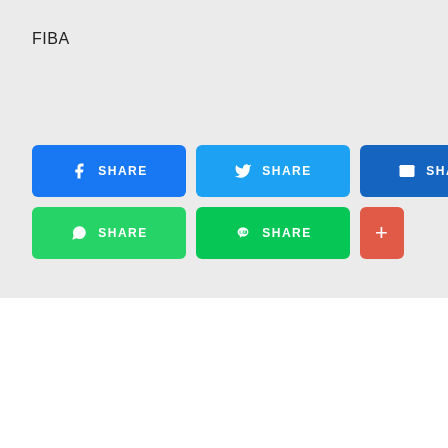FIBA
[Figure (infographic): Social share buttons: Facebook Share (blue), Twitter Share (light blue), Email Share (dark blue), WhatsApp Share (green), Line Share (green), Plus button (red/orange)]